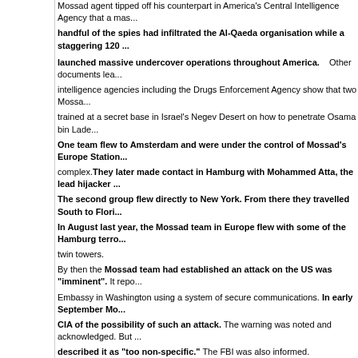Mossad agent tipped off his counterpart in America's Central Intelligence Agency that a mas... handful of the spies had infiltrated the Al-Qaeda organisation while a staggering 120 ...
launched massive undercover operations throughout America. Other documents lea... intelligence agencies including the Drugs Enforcement Agency show that two Mossa... trained at a secret base in Israel's Negev Desert on how to penetrate Osama bin Lade... One team flew to Amsterdam and were under the control of Mossad's Europe Station ... complex.They later made contact in Hamburg with Mohammed Atta, the lead hijacker ... The second group flew directly to New York. From there they travelled South to Flori... In August last year, the Mossad team in Europe flew with some of the Hamburg terro... twin towers.
By then the Mossad team had established an attack on the US was "imminent". It repo... Embassy in Washington using a system of secure communications. In early September Mo... CIA of the possibility of such an attack. The warning was noted and acknowledged. But ... described it as "too non-specific." The FBI was also informed.
Halevy sent a second alert to the CIA that reached Washington on or around Septemb...
A spokesman for the FBI refused to discuss specific details of the Mossad operation b... regard to possible intelligence failures arising from September 11. We can't verify your i... investigation."
Neither the DEA or the CIA would comment on the record, but a senior US intelligence s... it was extremely difficult to act on a non specific threat given in a couple of tips from Israeli i... could have been more specific with their information.
"Their surveillance teams must have observed Atta and his accomplices going to flyi... real truth."
The spying operations first came to the attention of the DEA in January 2001 accordin... seen by the Sunday Express. The names, passport details and other personal records of s...
dossier. (ends)
be sure does cover for Mossad